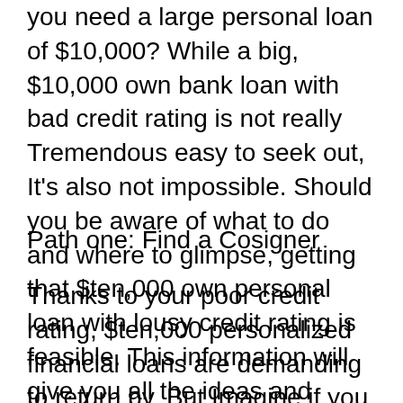you need a large personal loan of $10,000? While a big, $10,000 own bank loan with bad credit rating is not really Tremendous easy to seek out, It's also not impossible. Should you be aware of what to do and where to glimpse, getting that $ten,000 own personal loan with lousy credit rating is feasible. This information will give you all the ideas and tricks you need by providing a few legit paths you could observe.
Path one: Find a Cosigner
Thanks to your poor credit rating, $ten,000 personalized financial loans are demanding to return by. But Imagine if you could negate that bad credit score rating and alternatively submit an application for a personal